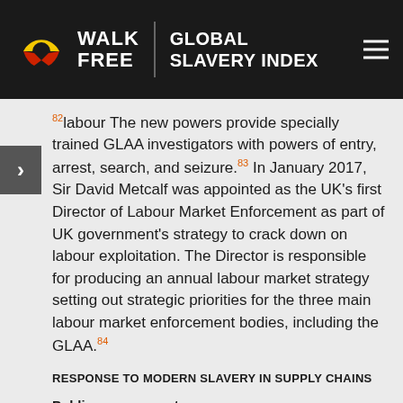WALK FREE | GLOBAL SLAVERY INDEX
82 labour The new powers provide specially trained GLAA investigators with powers of entry, arrest, search, and seizure. 83 In January 2017, Sir David Metcalf was appointed as the UK's first Director of Labour Market Enforcement as part of UK government's strategy to crack down on labour exploitation. The Director is responsible for producing an annual labour market strategy setting out strategic priorities for the three main labour market enforcement bodies, including the GLAA. 84
RESPONSE TO MODERN SLAVERY IN SUPPLY CHAINS
Public procurement